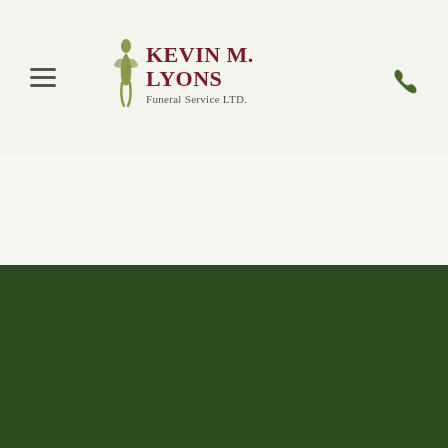Kevin M. Lyons Funeral Service LTD.
Printable
Share on Facebook
Find Us
[Figure (logo): Facebook circle icon (white F on dark green background)]